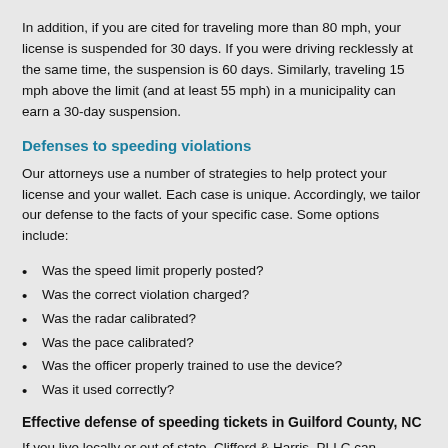In addition, if you are cited for traveling more than 80 mph, your license is suspended for 30 days. If you were driving recklessly at the same time, the suspension is 60 days. Similarly, traveling 15 mph above the limit (and at least 55 mph) in a municipality can earn a 30-day suspension.
Defenses to speeding violations
Our attorneys use a number of strategies to help protect your license and your wallet. Each case is unique. Accordingly, we tailor our defense to the facts of your specific case. Some options include:
Was the speed limit properly posted?
Was the correct violation charged?
Was the radar calibrated?
Was the pace calibrated?
Was the officer properly trained to use the device?
Was it used correctly?
Effective defense of speeding tickets in Guilford County, NC
If you live locally or out of state, Clifford & Harris, PLLC can successfully fight your speeding violation. Our experience in this area is substantial. You owe it to yourself to contact us for a free consultation about your